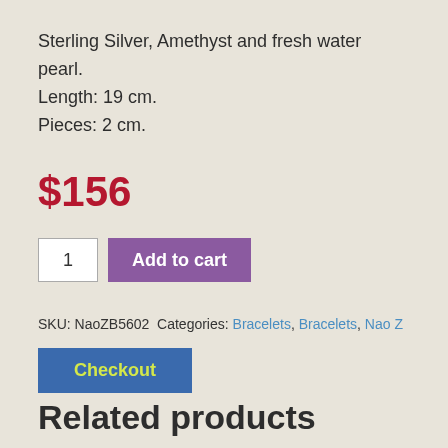Sterling Silver, Amethyst and fresh water pearl.
Length: 19 cm.
Pieces: 2 cm.
$156
1
Add to cart
SKU: NaoZB5602 Categories: Bracelets, Bracelets, Nao Z
Checkout
Related products